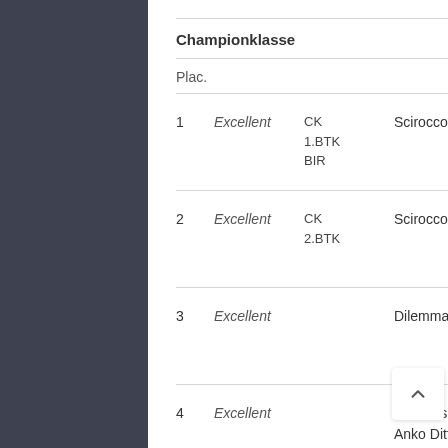Championklasse
| Plac. |  |  |  |
| --- | --- | --- | --- |
| 1 | Excellent | CK 1.BTK BIR | Scirocco's A Touch Of Sweet Victory |
| 2 | Excellent | CK 2.BTK | Scirocco's A Touch of High Mystery |
| 3 | Excellent |  | Dilemma Addicted To Love |
| 4 | Excellent |  | Sannie's S- Anko Dittoe Li... |